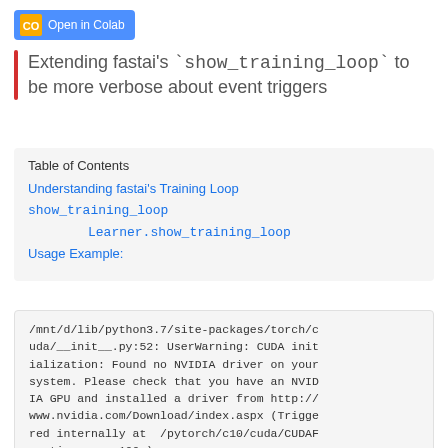[Figure (logo): Open in Colab button with Google Colab yellow/orange icon on blue background]
Extending fastai's `show_training_loop` to be more verbose about event triggers
Table of Contents
Understanding fastai's Training Loop
show_training_loop
Learner.show_training_loop
Usage Example:
/mnt/d/lib/python3.7/site-packages/torch/cuda/__init__.py:52: UserWarning: CUDA initialization: Found no NVIDIA driver on your system. Please check that you have an NVIDIA GPU and installed a driver from http://www.nvidia.com/Download/index.aspx (Triggered internally at  /pytorch/c10/cuda/CUDAFunctions.cpp:100.)
    return torch._C._cuda_getDeviceCount() >